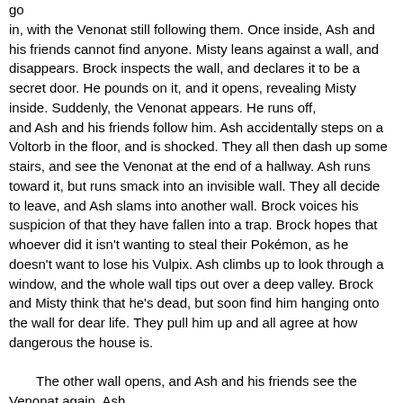go
in, with the Venonat still following them. Once inside, Ash and his friends cannot find anyone. Misty leans against a wall, and disappears. Brock inspects the wall, and declares it to be a secret door. He pounds on it, and it opens, revealing Misty inside. Suddenly, the Venonat appears. He runs off,
and Ash and his friends follow him. Ash accidentally steps on a Voltorb in the floor, and is shocked. They all then dash up some stairs, and see the Venonat at the end of a hallway. Ash runs toward it, but runs smack into an invisible wall. They all decide to leave, and Ash slams into another wall. Brock voices his suspicion of that they have fallen into a trap. Brock hopes that whoever did it isn't wanting to steal their Pokémon, as he doesn't want to lose his Vulpix. Ash climbs up to look through a window, and the whole wall tips out over a deep valley. Brock and Misty think that he's dead, but soon find him hanging onto the wall for dear life. They pull him up and all agree at how dangerous the house is.

    The other wall opens, and Ash and his friends see the Venonat again. Ash
rushes through, to see several Ninja Stars flying at him. Misty and Brock go
through, and find him pinned onto the panel. They hear a laugh behind them,
and turn to see Iya, and Ninja Warrior. Ash yells at her for throwing the Stars around, and Misty agrees, asking Brock for support. Brock, however, is
smitten, and he tries to make her acquaintance. She pushes him over in disgust, and informs them all that the house is a Ninja training camp. She tells them that the Venonat had told her of three stupid people who entered the house, and that she won't let them leave until she battles them. Ash accepts, and sends out Bulbasaur against Iya's Venonat. Bulbasaur uses
accepts, and sends out Bulbasaur against Iya's Venonat. Bulbasaur uses